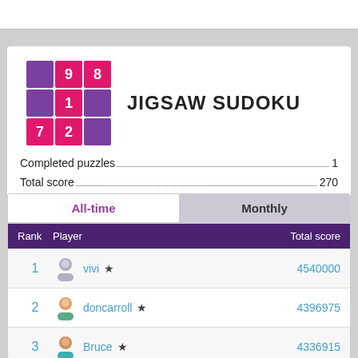[Figure (screenshot): App screenshot showing Jigsaw Sudoku leaderboard]
JIGSAW SUDOKU
Completed puzzles...1
Total score...270
| Rank | Player | Total score |
| --- | --- | --- |
| 1 | vivi ★ | 4540000 |
| 2 | doncarroll ★ | 4396975 |
| 3 | Bruce ★ | 4336915 |
| 4 | BlauesKlavier ★ | 4083440 |